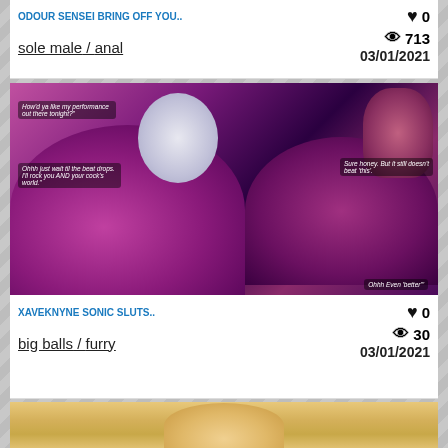ODOUR SENSEI BRING OFF YOU..
sole male / anal
♥ 0  👁 713  03/01/2021
[Figure (illustration): Furry comic illustration with pink/purple characters, speech bubbles reading 'How'd ya like my performance out there tonight?', 'Ohhh just wait til the beat drops. I'll rock you AND your cock's world.', 'Sure honey. But it still doesn't beat this.', 'Ohhh Even better']
XAVEKNYNE SONIC SLUTS..
big balls / furry
♥ 0  👁 30  03/01/2021
[Figure (photo): Partial view of a blonde person's face from below chin]